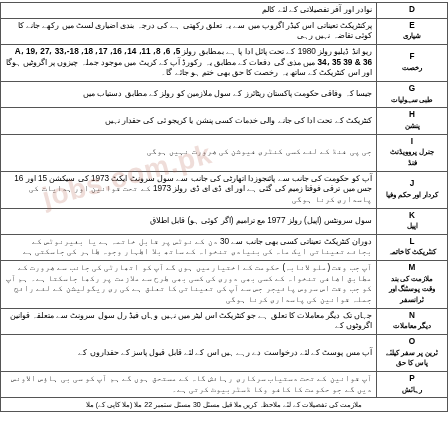| کالم | تفصیل |
| --- | --- |
| D | نوادر اور مفر تفصیلاتی کے لئے کالم |
| E | پرکنٹریکٹ تعیناتی اس کیڈر اگروپ میں سے یہ تعلق رکھتی ہے کی درجہ بندی اضیاری لسٹ میں رکھے جانے کا کوئی تقاضہ نہیں رہی |
| F | ریو انڈ ڈیلیو رولز 1980 کے تحت پائل ادا پا ہے بمطابق رولز 5، 6، 8، 11، 14، 16، 17، 18، 18-A، 19، 27، 33، 34، 35 39 & 36 میں مذی گی دفعات کے مطابق یہ رکورڈ آپ کے کریٹ میں مل موجود جملہ چیزوں پر اگروٹیں ہوگا اور اس کنٹریکٹ کے ساتھ یہ رخصت کا حق بھی ختم ہو جائے گا۔ |
| G | جیسا کہ وفاقی حکومت پاکستان ریٹائرز کے سول ملازمین کو رولز کے مطابق دستیاب میں |
| H | پنشن کنٹریکٹ کے تحت ادا کی جانے والی خدمات کسی پنشن یا کریکو ئی کی حقدار نہیں |
| I | جی پی فنڈ کے لئے کسی کنٹری فیوشن کی ضرورت نہیں ہوگی عام پرووینٹ |
| J | آپ کو حکومت کی جانب سے پائنجو زدا اتھارٹی کی جانب سے سول سرونٹ ایکٹ 1973 کی سیکشن 15 اور 16 جس میں ترقی فوقتا زمیم کی گئی ہے اور ای ڈی ای ڈی رولز 1973 کے تحت قوانین اور ہدایات کی پاسداری کرنا ہوگی کردار اور حکم وفیا |
| K | سول سرونٹس (اپیل) رولز 1977 مع ترامیم (اگر کوئی ہو) قابل اطلاق اپیل |
| L | کنٹریکٹ کا خاتمہ دوران کنٹریکٹ تعیناتی کسی بھی جانب سے 30 دن کے نوٹس پر قابل خاتمہ ہے یا بغیرنوٹس کے بجائے تعیناتی ایک ماہ کی بنیادی تنخواہ کے ساتھ بلا اظہار وجوہ ظاہر کی جاسکتی ہے |
| M | آپ جب وقت (ملو لاابہ) حکومت کے اختیار میں ہوں گے آپ کو اتھارٹی کی جانب سے ضرورت کے مطابق اضافی تنخواہ کے کسی بھی دوری کی کسی بھی طرح سے ملازمت پر رکھا جاسکتا ہے۔ ہم آپ کو جب وقت اس سروس پائیجر جس سے آپ کی تعیناتی کا تعلق ہے کی ری ریگولیشن کے لئے رائج جملہ قوانین کی پاسداری کرنا ہوگی ملازمت کی بند ترانسفر |
| N | جہاں تک دیگر معاملات کا تعلق ہے جو کنٹریکٹ اس لیٹر میں نہیں وہاں فیڈ رل سول سرونٹ سے متعلقہ قوانین اگروٹوں کے دیگر معاملات |
| O | آپ مس پوسٹ کے لئے درخواست دے رہے ہیں اس کے لئے قابل قبولی پاسز کے حقداروں کے ٹرین پر سفر کیلئے پاس کا حق |
| P | آپ قوانین کے تحت دستیاب سرکاری رہائش گاہ کے مستحق ہوں گے ہم آپ کو سی بی ہاؤس الاونس دیں گے جو حکومت کا کافو وکا ڈسٹربیوٹ کرتی ہے۔ رہائش |